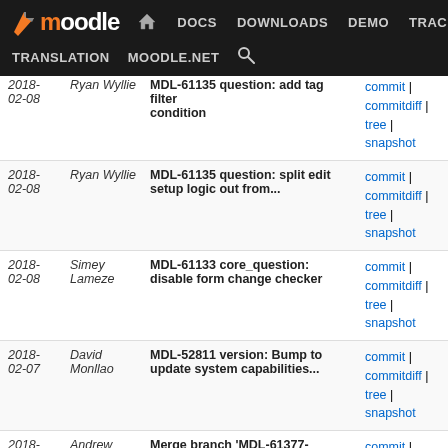Moodle DEV navigation: DOCS | DOWNLOADS | DEMO | TRACKER | DEV | TRANSLATION | MOODLE.NET
| Date | Author | Commit Message | Links |
| --- | --- | --- | --- |
| 2018-02-08 | Ryan Wyllie | MDL-61135 question: add tag filter condition | commit | commitdiff | tree | snapshot |
| 2018-02-08 | Ryan Wyllie | MDL-61135 question: split edit setup logic out from... | commit | commitdiff | tree | snapshot |
| 2018-02-08 | Simey Lameze | MDL-61133 core_question: disable form change checker | commit | commitdiff | tree | snapshot |
| 2018-02-07 | David Monllao | MDL-52811 version: Bump to update system capabilities... | commit | commitdiff | tree | snapshot |
| 2018-02-07 | Andrew Nicols | Merge branch 'MDL-61377-master' of git://github.com... | commit | commitdiff | tree | snapshot |
| 2018-02-07 | Shamim Rezaie | MDL-61377 Core: Fixed faulty warning when using progres... | commit | commitdiff | tree | snapshot |
| 2018-02-06 | Andrew Nicols | Merge branch 'MDL-52832' of https://github.com/stronk7... | commit | commitdiff | tree | snapshot |
| 2018-02-06 | Eloy Lafuente... | MDL-52832 quiz: sql fixing couple of incorrect group... | commit | commitdiff | tree | snapshot |